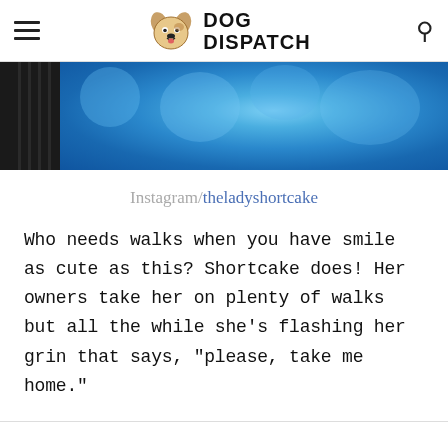DOG DISPATCH
[Figure (photo): A dog wrapped in a blue fluffy towel, close-up photo showing the blue terry cloth texture]
Instagram/theladyshortcake
Who needs walks when you have smile as cute as this? Shortcake does! Her owners take her on plenty of walks but all the while she’s flashing her grin that says, “please, take me home.”